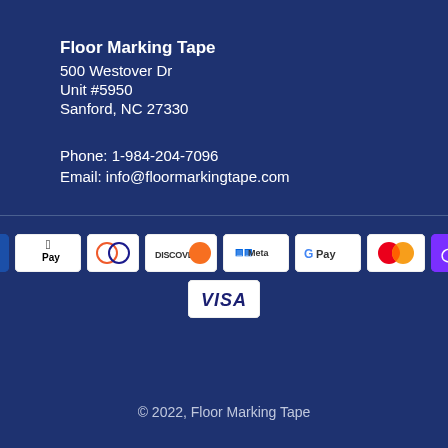Floor Marking Tape
500 Westover Dr
Unit #5950
Sanford, NC 27330
Phone: 1-984-204-7096
Email: info@floormarkingtape.com
[Figure (infographic): Payment method logos: American Express, Apple Pay, Diners Club, Discover, Meta Pay, Google Pay, Mastercard, Samsung Pay (O Pay), Visa]
© 2022, Floor Marking Tape